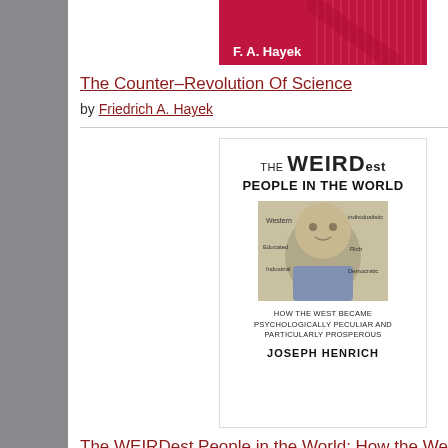[Figure (illustration): Book cover for The Counter-Revolution Of Science by F.A. Hayek — red/pink background with diagonal line pattern, partial top strip visible]
The Counter-Revolution Of Science
by Friedrich A. Hayek
[Figure (illustration): Book cover for The WEIRDest People in the World by Joseph Henrich — white background with bold title text and stylized face illustration]
The WEIRDest People in the World: How the West Became Psychologically Peculiar and Particularly Prosperous
by Joseph Henrich
[Figure (illustration): Partial book cover showing PR or similar large bold letters with a red prohibition circle symbol]